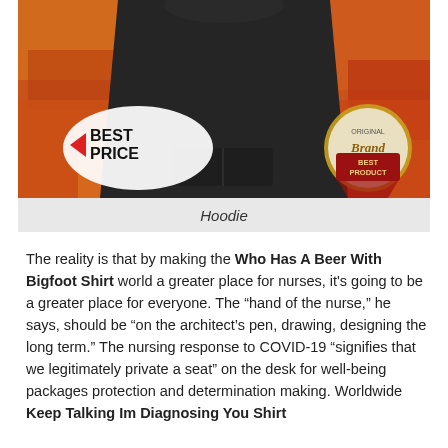[Figure (photo): A black hoodie product photo with a textured red/orange background. Bottom-left shows a 'Best Price' badge with a red arrow. Bottom-right shows an 'Original Brand Best Product' circular badge.]
Hoodie
The reality is that by making the Who Has A Beer With Bigfoot Shirt world a greater place for nurses, it's going to be a greater place for everyone. The “hand of the nurse,” he says, should be “on the architect’s pen, drawing, designing the long term.” The nursing response to COVID-19 “signifies that we legitimately private a seat” on the desk for well-being packages protection and determination making. Worldwide Keep Talking Im Diagnosing You Shirt